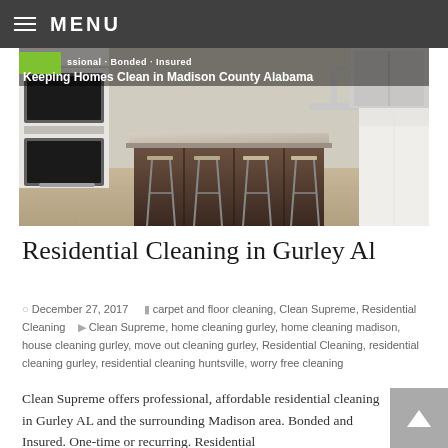MENU
[Figure (photo): Kitchen interior with island, bar stools, stainless steel appliances and marble countertop. Overlay text reads: 'ssional - Bonded - Insured / Keeping Homes Clean in Madison County Alabama']
Residential Cleaning in Gurley Al
December 27, 2017   carpet and floor cleaning, Clean Supreme, Residential Cleaning   Clean Supreme, home cleaning gurley, home cleaning madison, house cleaning gurley, move out cleaning gurley, Residential Cleaning, residential cleaning gurley, residential cleaning huntsville, worry free cleaning
Clean Supreme offers professional, affordable residential cleaning in Gurley AL and the surrounding Madison area. Bonded and Insured. One-time or recurring. Residential